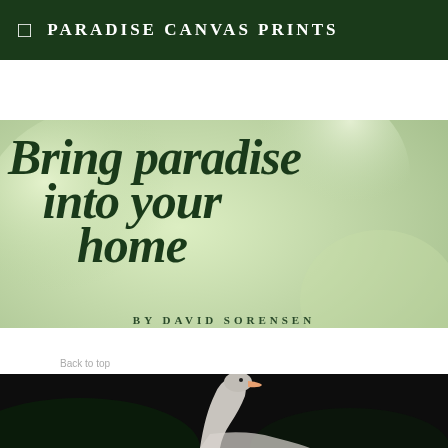PARADISE CANVAS PRINTS
Bring paradise into your home
BY DAVID SORENSEN
[Figure (photo): Close-up photo of a goose head and wing against a dark background]
Back to top